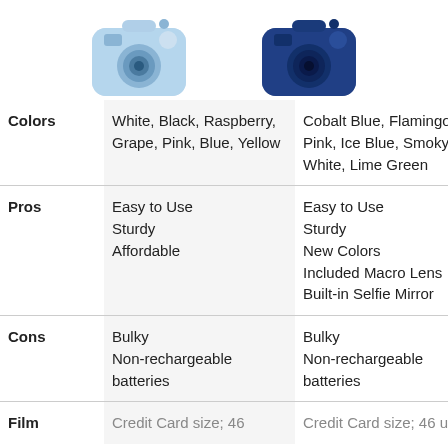[Figure (photo): Two instant cameras: light blue on left, dark blue on right, partially cropped at top]
|  | Camera 1 | Camera 2 |
| --- | --- | --- |
| Colors | White, Black, Raspberry, Grape, Pink, Blue, Yellow | Cobalt Blue, Flamingo Pink, Ice Blue, Smoky White, Lime Green |
| Pros | Easy to Use
Sturdy
Affordable | Easy to Use
Sturdy
New Colors
Included Macro Lens
Built-in Selfie Mirror |
| Cons | Bulky
Non-rechargeable batteries | Bulky
Non-rechargeable batteries |
| Film | Credit Card size; 46... | Credit Card size; 46 u... |